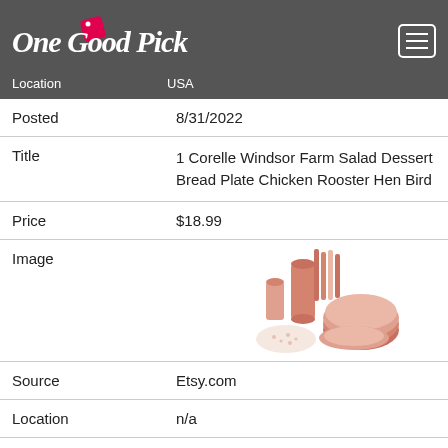One Good Pick — onegoodpick.com — Location USA
| Field | Value |
| --- | --- |
| Posted | 8/31/2022 |
| Title | 1 Corelle Windsor Farm Salad Dessert Bread Plate Chicken Rooster Hen Bird |
| Price | $18.99 |
| Image | [product image] |
| Source | Etsy.com |
| Location | n/a |
| Posted | n/a |